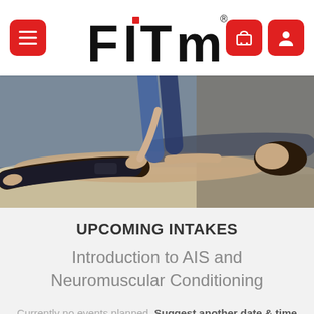FITM® — header with menu, logo, cart and profile icons
[Figure (photo): A woman lying face-up on a massage table receiving a stretch/massage treatment from a therapist who is manipulating her leg. The therapist stands behind her.]
UPCOMING INTAKES
Introduction to AIS and Neuromuscular Conditioning
Currently no events planned. Suggest another date & time